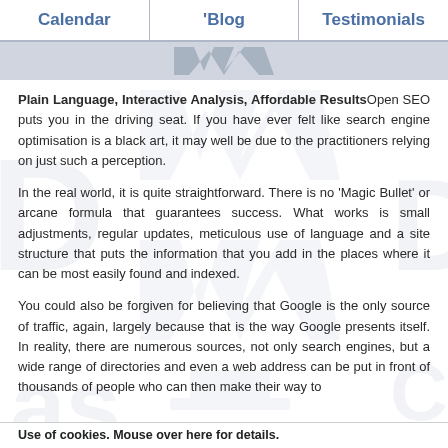Calendar | 'Blog | Testimonials
[Figure (logo): Watermark/logo strip with decorative W-shaped logo in grey]
Plain Language, Interactive Analysis, Affordable Results Open SEO puts you in the driving seat. If you have ever felt like search engine optimisation is a black art, it may well be due to the practitioners relying on just such a perception.
In the real world, it is quite straightforward. There is no 'Magic Bullet' or arcane formula that guarantees success. What works is small adjustments, regular updates, meticulous use of language and a site structure that puts the information that you add in the places where it can be most easily found and indexed.
You could also be forgiven for believing that Google is the only source of traffic, again, largely because that is the way Google presents itself. In reality, there are numerous sources, not only search engines, but a wide range of directories and even a web address can be put in front of thousands of people who can then make their way to
Use of cookies. Mouse over here for details.